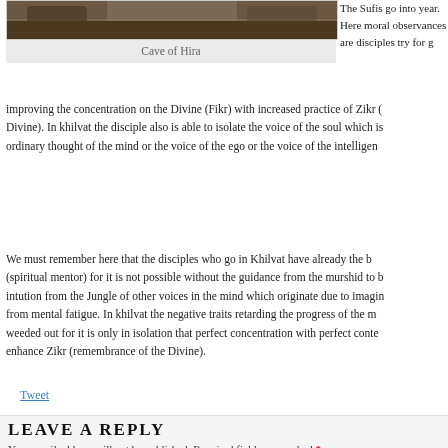[Figure (photo): Photo of Cave of Hira, rocky cave entrance]
Cave of Hira
The Sufis go into year. Here moral observances are disciples try for g improving the concentration on the Divine (Fikr) with increased practice of Zikr ( Divine). In khilvat the disciple also is able to isolate the voice of the soul which is ordinary thought of the mind or the voice of the ego or the voice of the intelligen
We must remember here that the disciples who go in Khilvat have already the b (spiritual mentor) for it is not possible without the guidance from the murshid to b intution from the Jungle of other voices in the mind which originate due to imagin from mental fatigue. In khilvat the negative traits retarding the progress of the m weeded out for it is only in isolation that perfect concentration with perfect conte enhance Zikr (remembrance of the Divine).
Tweet
LEAVE A REPLY
Your email address will not be published. Required fields are marked *